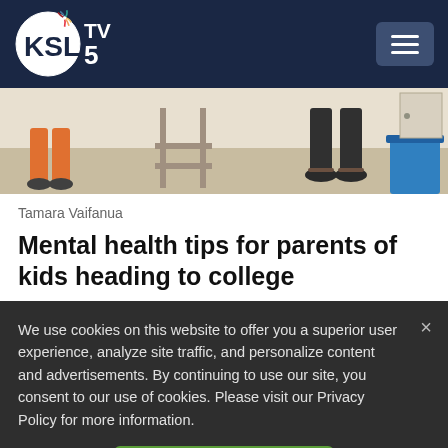KSL TV 5
[Figure (photo): A photo showing people's legs and feet in a room, with a blue bin visible on the right side. Appears to be a college dorm or similar setting.]
Tamara Vaifanua
Mental health tips for parents of kids heading to college
We use cookies on this website to offer you a superior user experience, analyze site traffic, and personalize content and advertisements. By continuing to use our site, you consent to our use of cookies. Please visit our Privacy Policy for more information.
Accept Cookies